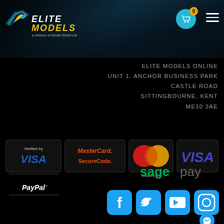[Figure (logo): Elite Models logo — stylized wing icon with yellow and blue text 'ELITE MODELS', subtitle 'a division of Model World Ltd']
ELITE MODELS ONLINE
UNIT 1. ANCHOR BUSINESS PARK
CASTLE ROAD
SITTINGBOURNE, KENT
ME10 3AE
[Figure (infographic): Payment method logos: Verified by VISA, MasterCard SecureCode, MasterCard, VISA, PayPal, Sage Pay]
[Figure (infographic): Social media icons: Facebook, Twitter, YouTube, Instagram, Messenger (partial)]